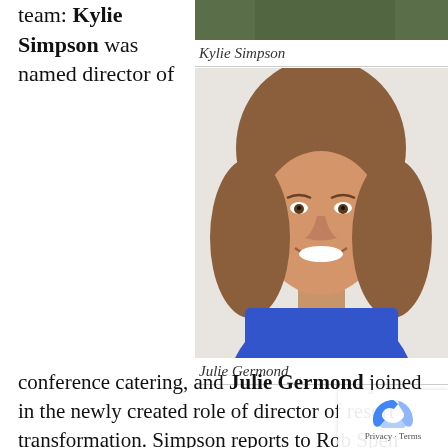team: Kylie Simpson was named director of
[Figure (photo): Partial photo of Kylie Simpson, cropped at top]
Kylie Simpson
[Figure (photo): Headshot of Julie Germond, smiling woman with long brown hair, wearing a blue top]
Julie Germond
conference catering, and Julie Germond joined in the newly created role of director of resort transformation. Simpson reports to Rob Spen vice president of food and beverage. Germond